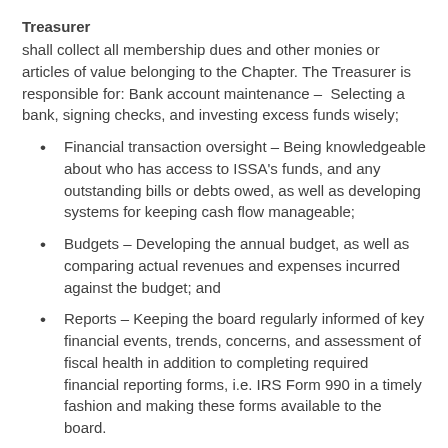Treasurer
shall collect all membership dues and other monies or articles of value belonging to the Chapter. The Treasurer is responsible for: Bank account maintenance – Selecting a bank, signing checks, and investing excess funds wisely;
Financial transaction oversight – Being knowledgeable about who has access to ISSA's funds, and any outstanding bills or debts owed, as well as developing systems for keeping cash flow manageable;
Budgets – Developing the annual budget, as well as comparing actual revenues and expenses incurred against the budget; and
Reports – Keeping the board regularly informed of key financial events, trends, concerns, and assessment of fiscal health in addition to completing required financial reporting forms, i.e. IRS Form 990 in a timely fashion and making these forms available to the board.